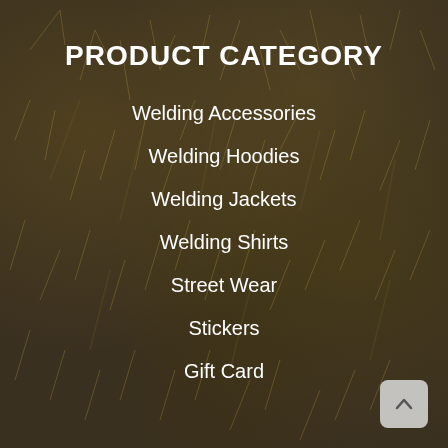PRODUCT CATEGORY
Welding Accessories
Welding Hoodies
Welding Jackets
Welding Shirts
Street Wear
Stickers
Gift Card